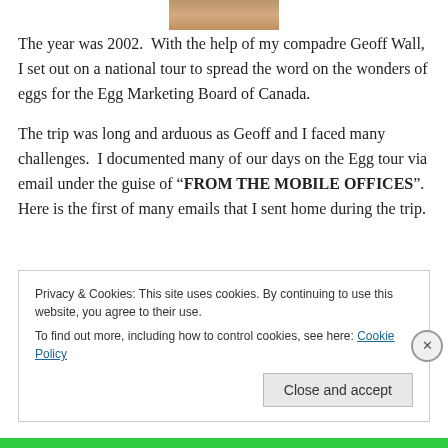[Figure (photo): Partial photo visible at top of page, cropped brown/tan image]
The year was 2002.  With the help of my compadre Geoff Wall, I set out on a national tour to spread the word on the wonders of eggs for the Egg Marketing Board of Canada.
The trip was long and arduous as Geoff and I faced many challenges.  I documented many of our days on the Egg tour via email under the guise of “FROM THE MOBILE OFFICES”.  Here is the first of many emails that I sent home during the trip.
Privacy & Cookies: This site uses cookies. By continuing to use this website, you agree to their use.
To find out more, including how to control cookies, see here: Cookie Policy
Close and accept